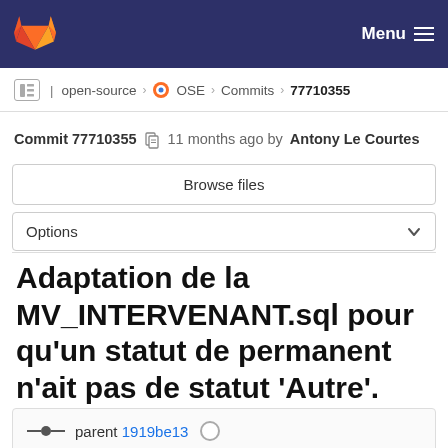[Figure (screenshot): GitLab navigation bar with logo and Menu button]
open-source › OSE › Commits › 77710355
Commit 77710355  11 months ago by Antony Le Courtes
Browse files
Options
Adaptation de la MV_INTERVENANT.sql pour qu'un statut de permanent n'ait pas de statut 'Autre'.
parent 1919be13